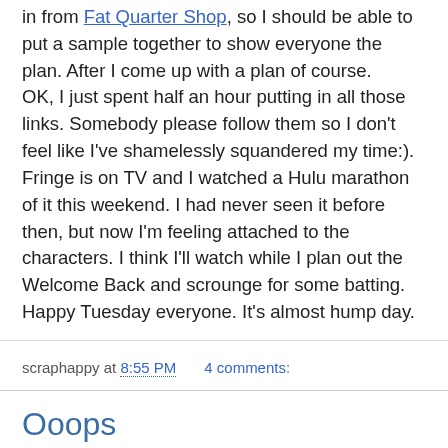in from Fat Quarter Shop, so I should be able to put a sample together to show everyone the plan. After I come up with a plan of course.
OK, I just spent half an hour putting in all those links. Somebody please follow them so I don't feel like I've shamelessly squandered my time:). Fringe is on TV and I watched a Hulu marathon of it this weekend. I had never seen it before then, but now I'm feeling attached to the characters. I think I'll watch while I plan out the Welcome Back and scrounge for some batting. Happy Tuesday everyone. It's almost hump day.
scraphappy at 8:55 PM    4 comments:
Ooops
[Figure (photo): Photo of a quilt block with floral/star pattern in purple, green, and red on white background]
Late night quilting can be hazardous to your sanity. I should have gone to bed last night instead of trying to connect the letters to my